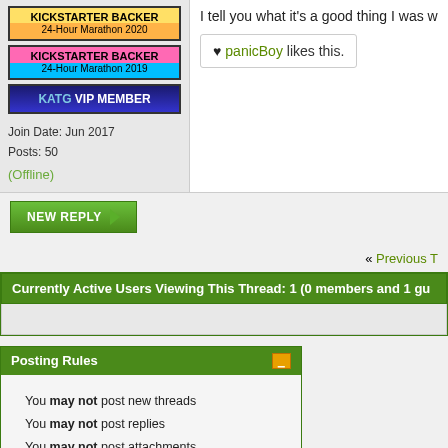[Figure (infographic): User badges: KICKSTARTER BACKER 24-Hour Marathon 2020, KICKSTARTER BACKER 24-Hour Marathon 2019, KATG VIP MEMBER]
Join Date: Jun 2017
Posts: 50
(Offline)
I tell you what it's a good thing I was w...
♥ panicBoy likes this.
NEW REPLY
« Previous T...
Currently Active Users Viewing This Thread: 1 (0 members and 1 gu...
Posting Rules
You may not post new threads
You may not post replies
You may not post attachments
You may not edit your posts
BB code is On
Smilies are On
[IMG] code is On
HTML code is Off